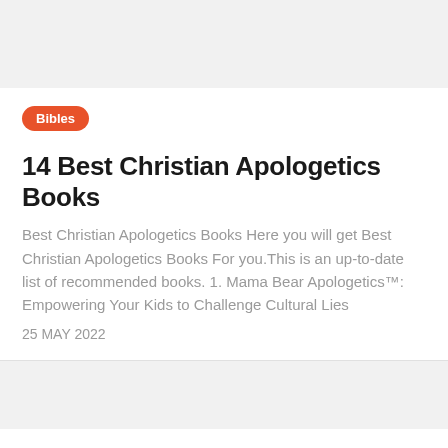Bibles
14 Best Christian Apologetics Books
Best Christian Apologetics Books Here you will get Best Christian Apologetics Books For you.This is an up-to-date list of recommended books. 1. Mama Bear Apologetics™: Empowering Your Kids to Challenge Cultural Lies
25 MAY 2022
Subscribe to Books Awesome
Get the latest content delivered right to your inbox.